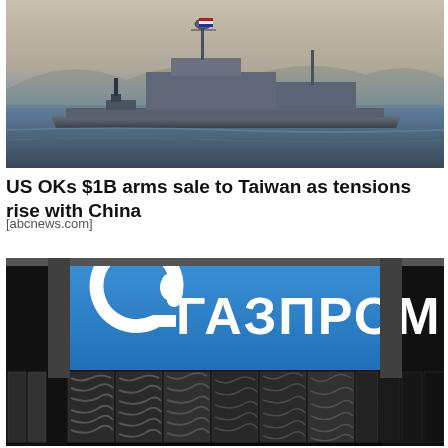[Figure (photo): A US Navy warship/cruiser at sea, with grey hull, masts and superstructure visible against a hazy sky and calm ocean water.]
US OKs $1B arms sale to Taiwan as tensions rise with China
[abcnews.com]
[Figure (photo): A Gazprom (ГАЗПРОМ) corporate signage/billboard on a building facade. The blue sign features the Gazprom logo (a stylized G with a flame) and the Cyrillic text ГАЗПРОМ in white. Below the sign are glass windows with reflections.]